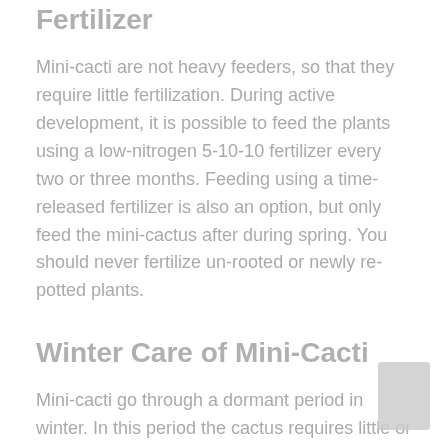Fertilizer
Mini-cacti are not heavy feeders, so that they require little fertilization. During active development, it is possible to feed the plants using a low-nitrogen 5-10-10 fertilizer every two or three months. Feeding using a time-released fertilizer is also an option, but only feed the mini-cactus after during spring. You should never fertilize un-rooted or newly re-potted plants.
Winter Care of Mini-Cacti
Mini-cacti go through a dormant period in winter. In this period the cactus requires little or no water. The plant does well using a watering every few weeks. You don't have to fertilize the cactus because little development occurs during that time. During active growth, cacti require an indoor temperature between 65 and 90